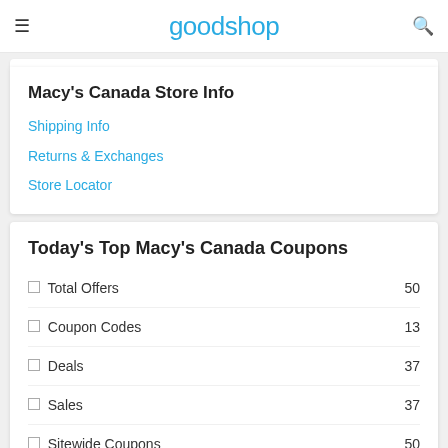goodshop
Macy's Canada Store Info
Shipping Info
Returns & Exchanges
Store Locator
Today's Top Macy's Canada Coupons
|  |  |
| --- | --- |
| 🏷 Total Offers | 50 |
| 🏷 Coupon Codes | 13 |
| 🏷 Deals | 37 |
| 🏷 Sales | 37 |
| 🏷 Sitewide Coupons | 50 |